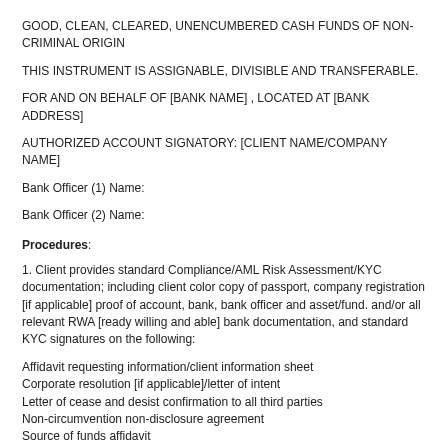GOOD, CLEAN, CLEARED, UNENCUMBERED CASH FUNDS OF NON-CRIMINAL ORIGIN
THIS INSTRUMENT IS ASSIGNABLE, DIVISIBLE AND TRANSFERABLE.
FOR AND ON BEHALF OF [BANK NAME] , LOCATED AT [BANK ADDRESS]
AUTHORIZED ACCOUNT SIGNATORY: [CLIENT NAME/COMPANY NAME]
Bank Officer (1) Name:
Bank Officer (2) Name:
Procedures:
1. Client provides standard Compliance/AML Risk Assessment/KYC documentation; including client color copy of passport, company registration [if applicable] proof of account, bank, bank officer and asset/fund. and/or all relevant RWA [ready willing and able] bank documentation, and standard KYC signatures on the following:
Affidavit requesting information/client information sheet
Corporate resolution [if applicable]/letter of intent
Letter of cease and desist confirmation to all third parties
Non-circumvention non-disclosure agreement
Source of funds affidavit
Letter of authorization to verify funds
Confirmation of bank officer
Non-solicitation
Exclusivity